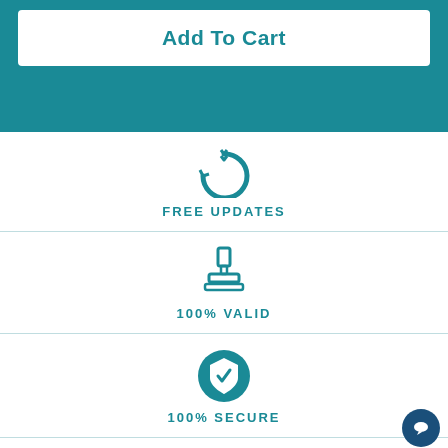[Figure (screenshot): Add To Cart button on teal background with rounded white card]
[Figure (infographic): FREE UPDATES icon - circular arrow with upward chevrons, teal color]
FREE UPDATES
[Figure (infographic): 100% VALID icon - rubber stamp in teal]
100% VALID
[Figure (infographic): 100% SECURE icon - shield with check mark in teal circle]
100% SECURE
[Figure (infographic): Partial icon visible at bottom - appears to be a badge/medal icon in teal]